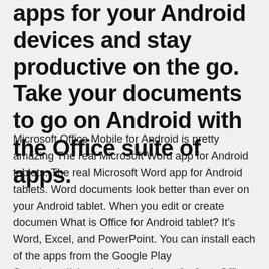apps for your Android devices and stay productive on the go. Take your documents to go on Android with the Office suite of apps.
Microsoft Office Mobile for Android is pretty amazing The real Microsoft Word app for Android tablets. The real Microsoft Word app for Android tablets. Word documents look better than ever on your Android tablet. When you edit or create documen What is Office for Android tablet? It's Word, Excel, and PowerPoint. You can install each of the apps from the Google Play Storehttps://play.google.com/store for free. Office for Android tablet. Wunderlist: To-Do List & Tasks. Free communications apps for Samsung Galaxy Alpha In November, we invited you to sign up for the Office for Android tablet